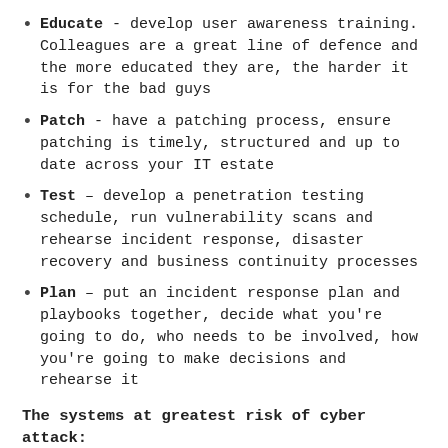Educate - develop user awareness training. Colleagues are a great line of defence and the more educated they are, the harder it is for the bad guys
Patch - have a patching process, ensure patching is timely, structured and up to date across your IT estate
Test – develop a penetration testing schedule, run vulnerability scans and rehearse incident response, disaster recovery and business continuity processes
Plan – put an incident response plan and playbooks together, decide what you're going to do, who needs to be involved, how you're going to make decisions and rehearse it
The systems at greatest risk of cyber attack:
This really depends on the motives behind the attack. In the main ransomware is designed to cause disruption and prevent access to systems and data; therefore, inhibiting